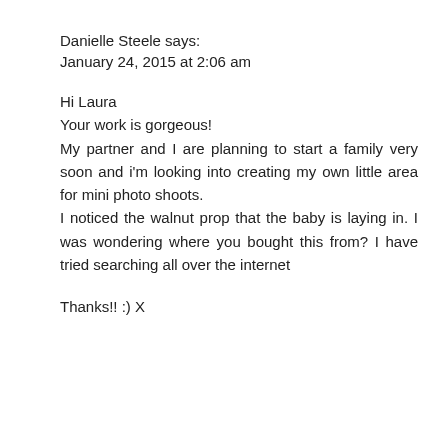Danielle Steele says:
January 24, 2015 at 2:06 am
Hi Laura
Your work is gorgeous!
My partner and I are planning to start a family very soon and i'm looking into creating my own little area for mini photo shoots.
I noticed the walnut prop that the baby is laying in. I was wondering where you bought this from? I have tried searching all over the internet
Thanks!! :) X